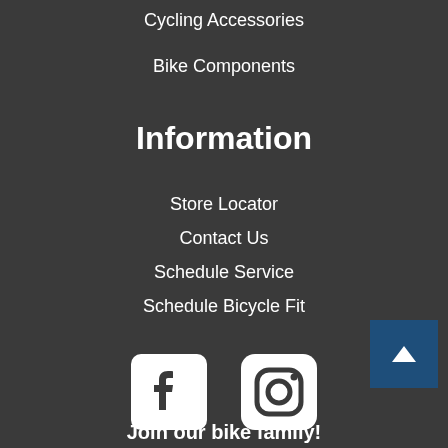Cycling Accessories
Bike Components
Information
Store Locator
Contact Us
Schedule Service
Schedule Bicycle Fit
[Figure (logo): Facebook and Instagram social media icons in white]
Join our bike family!